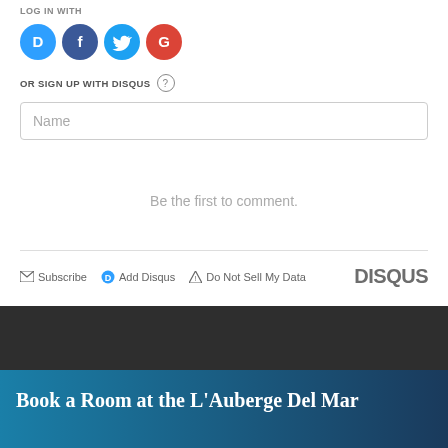LOG IN WITH
[Figure (illustration): Four social login icons: Disqus (blue circle with D), Facebook (dark blue circle with f), Twitter (light blue circle with bird), Google (red circle with G)]
OR SIGN UP WITH DISQUS ?
Name (input field placeholder)
Be the first to comment.
Subscribe  Add Disqus  Do Not Sell My Data   DISQUS
Book a Room at the L'Auberge Del Mar